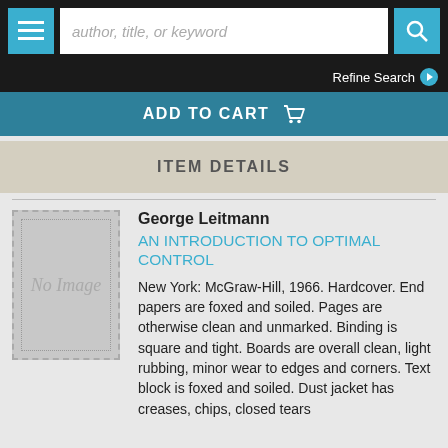author, title, or keyword
Refine Search
ADD TO CART
ITEM DETAILS
[Figure (illustration): No Image placeholder for book cover]
George Leitmann
AN INTRODUCTION TO OPTIMAL CONTROL
New York: McGraw-Hill, 1966. Hardcover. End papers are foxed and soiled. Pages are otherwise clean and unmarked. Binding is square and tight. Boards are overall clean, light rubbing, minor wear to edges and corners. Text block is foxed and soiled. Dust jacket has creases, chips, closed tears